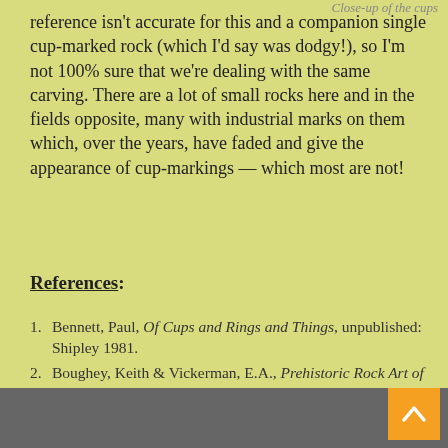Close-up of the cups
reference isn't accurate for this and a companion single cup-marked rock (which I'd say was dodgy!), so I'm not 100% sure that we're dealing with the same carving. There are a lot of small rocks here and in the fields opposite, many with industrial marks on them which, over the years, have faded and give the appearance of cup-markings — which most are not!
References:
Bennett, Paul, Of Cups and Rings and Things, unpublished: Shipley 1981.
Boughey, Keith & Vickerman, E.A., Prehistoric Rock Art of the West Riding, WYAS: Wakefield 2003.
© Paul Bennett, The Northern Antiquarian